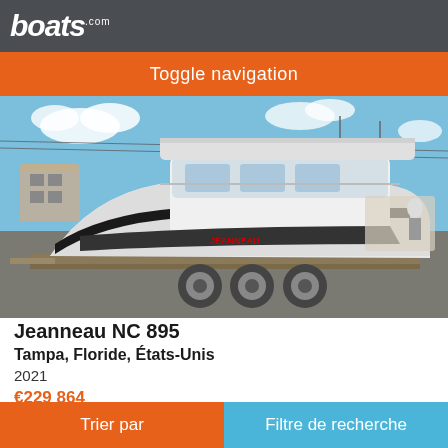boats.com
Toggle navigation
[Figure (photo): White Jeanneau NC 895 motorboat on a trailer in a parking lot, bright sunny day]
Jeanneau NC 895
Tampa, Floride, États-Unis
2021
€229 864
Available in Store: Tampa Bay This gently used 2021 Jeanneau NC 895 is
Trier par    Filtre de recherche